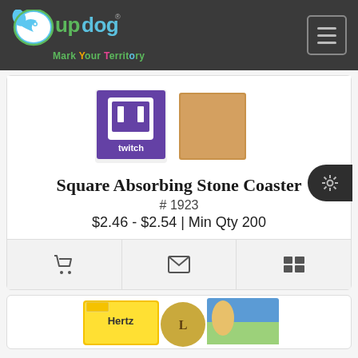updog - Mark Your Territory
[Figure (screenshot): Product image showing Twitch logo coaster (purple square with Twitch logo and a tan/cork square coaster beside it)]
Square Absorbing Stone Coaster
# 1923
$2.46 - $2.54 | Min Qty 200
[Figure (screenshot): Action bar with shopping cart icon, envelope icon, and list icon buttons]
[Figure (screenshot): Second product card showing Hertz and Louis Vuitton branded coasters, partially visible at bottom]